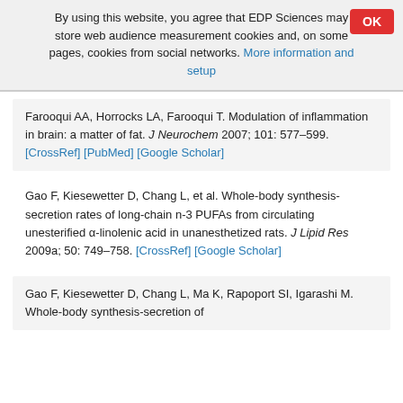By using this website, you agree that EDP Sciences may store web audience measurement cookies and, on some pages, cookies from social networks. More information and setup
Farooqui AA, Horrocks LA, Farooqui T. Modulation of inflammation in brain: a matter of fat. J Neurochem 2007; 101: 577–599. [CrossRef] [PubMed] [Google Scholar]
Gao F, Kiesewetter D, Chang L, et al. Whole-body synthesis-secretion rates of long-chain n-3 PUFAs from circulating unesterified α-linolenic acid in unanesthetized rats. J Lipid Res 2009a; 50: 749–758. [CrossRef] [Google Scholar]
Gao F, Kiesewetter D, Chang L, Ma K, Rapoport SI, Igarashi M. Whole-body synthesis-secretion of